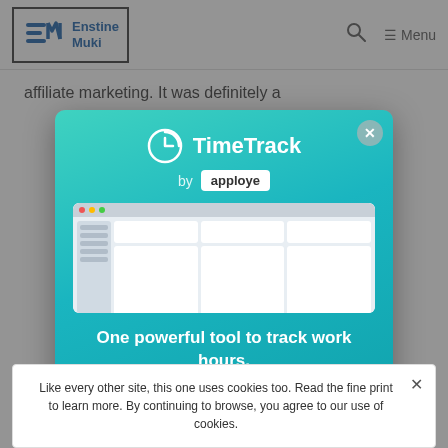Enstine Muki — Search | Menu
affiliate marketing. It was definitely a
[Figure (screenshot): TimeTrack by apploye modal popup advertisement with a dashboard screenshot and tagline 'One powerful tool to track work hours, make payrolls, and bill clients' with a GET FOR FREE button]
Like every other site, this one uses cookies too. Read the fine print to learn more. By continuing to browse, you agree to our use of cookies.